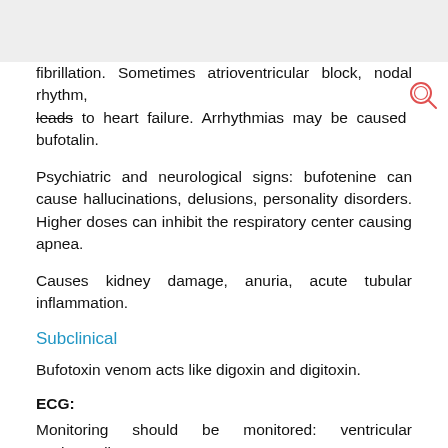fibrillation. Sometimes atrioventricular block, nodal rhythm, leads to heart failure. Arrhythmias may be caused bufotalin.
Psychiatric and neurological signs: bufotenine can cause hallucinations, delusions, personality disorders. Higher doses can inhibit the respiratory center causing apnea.
Causes kidney damage, anuria, acute tubular inflammation.
Subclinical
Bufotoxin venom acts like digoxin and digitoxin.
ECG:
Monitoring should be monitored: ventricular tachycardia